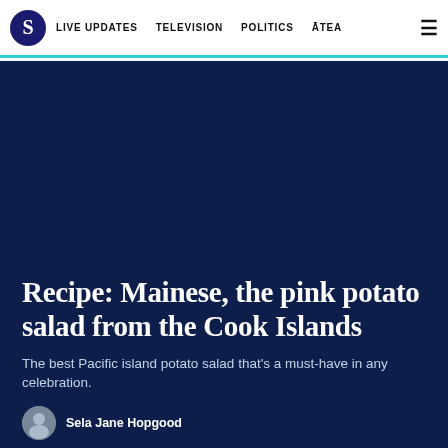S | LIVE UPDATES   TELEVISION   POLITICS   ĀTEA   ☰
[Figure (photo): Dark navy blue hero image background taking up most of the page]
Recipe: Mainese, the pink potato salad from the Cook Islands
The best Pacific island potato salad that's a must-have in any celebration.
Sela Jane Hopgood